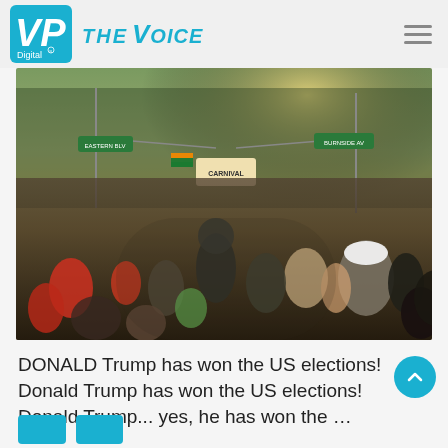JP Digital THE VOICE
[Figure (photo): Large crowd of people filling a city street, photographed from street level looking up the block. Green street signs visible, colorful flags in the crowd, city buildings and lights in background.]
DONALD Trump has won the US elections! Donald Trump has won the US elections! Donald Trump... yes, he has won the ...